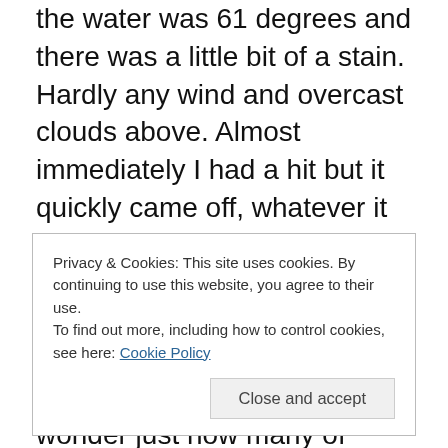the water was 61 degrees and there was a little bit of a stain. Hardly any wind and overcast clouds above. Almost immediately I had a hit but it quickly came off, whatever it was. It wasn't too much longer and I picked up a 4 inch small mouth on a #7 CCT Rapala. I swear he wasn't much bigger than the lure. I really have to wonder just how many of those YOY fish are down there. For the next several hours I tried many different color and size Rapala's, spoons and locations. Nothing worked and I was rewarded with my first skunk of the year. Guess I shouldn't have eaten that banana for breakfast. I quit around 11:00 am. I
Privacy & Cookies: This site uses cookies. By continuing to use this website, you agree to their use. To find out more, including how to control cookies, see here: Cookie Policy
Close and accept